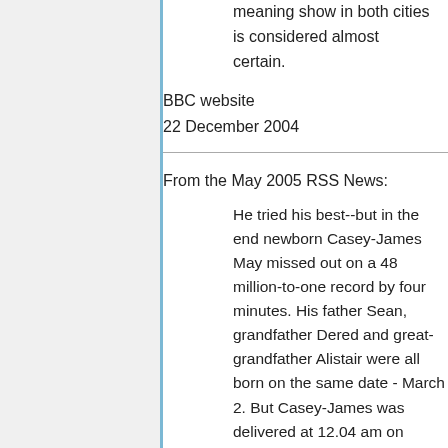meaning show in both cities is considered almost certain.
BBC website
22 December 2004
From the May 2005 RSS News:
He tried his best--but in the end newborn Casey-James May missed out on a 48 million-to-one record by four minutes. His father Sean, grandfather Dered and great-grandfather Alistair were all born on the same date - March 2. But Casey-James was delivered at 12.04 am on March 3....
Metro